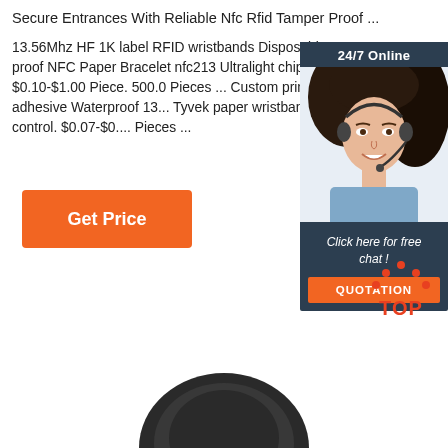Secure Entrances With Reliable Nfc Rfid Tamper Proof ...
13.56Mhz HF 1K label RFID wristbands Disposable Tamper proof NFC Paper Bracelet nfc213 Ultralight chip. $0.10-$1.00 Piece. 500.0 Pieces ... Custom print Self-adhesive Waterproof 13... Tyvek paper wristband for access control. $0.07-$0.... Pieces ...
[Figure (other): Orange 'Get Price' button]
[Figure (other): Chat widget with '24/7 Online' header, woman with headset, 'Click here for free chat!' text, and orange QUOTATION button]
[Figure (logo): TOP logo in orange-red dots and text]
[Figure (photo): Partial view of a dark circular product at the bottom of the page]